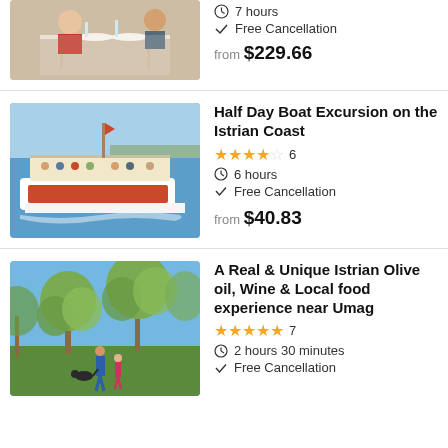[Figure (photo): People dining at a restaurant table]
7 hours
Free Cancellation
from $229.66
Half Day Boat Excursion on the Istrian Coast
[Figure (photo): A large tourist boat on the sea near the Istrian coast]
4.5 stars, 6 reviews
6 hours
Free Cancellation
from $40.83
A Real & Unique Istrian Olive oil, Wine & Local food experience near Umag
[Figure (photo): Family walking among olive trees in Istria]
5 stars, 7 reviews
2 hours 30 minutes
Free Cancellation